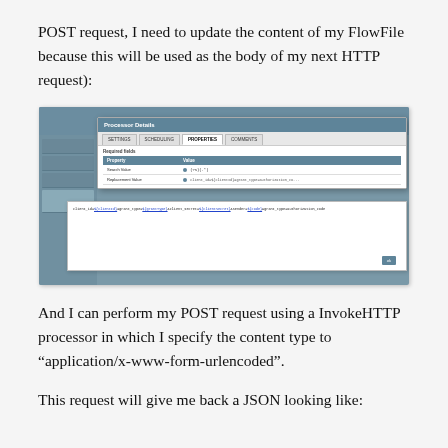POST request, I need to update the content of my FlowFile because this will be used as the body of my next HTTP request):
[Figure (screenshot): Screenshot of Apache NiFi Processor Details dialog showing Properties tab with Search Value and Replacement Value fields, and a code/text area below showing URL-encoded form data.]
And I can perform my POST request using a InvokeHTTP processor in which I specify the content type to “application/x-www-form-urlencoded”.
This request will give me back a JSON looking like: